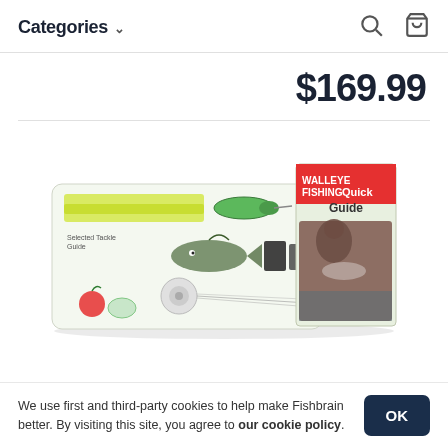Categories
$169.99
[Figure (photo): A walleye fishing kit showing a flat box/card with fishing lures, hooks, and tackle items illustrated on it, alongside a booklet titled 'WALLEYE FISHING Quick Guide' with a photo of a person holding a walleye fish on the cover.]
We use first and third-party cookies to help make Fishbrain better. By visiting this site, you agree to our cookie policy.